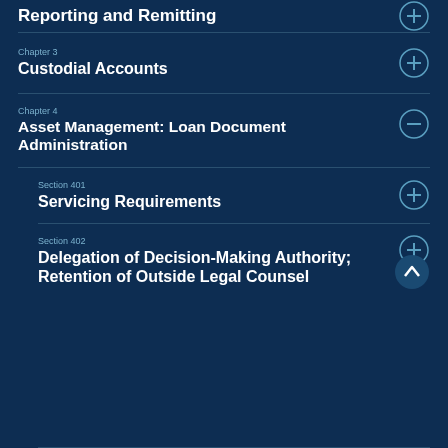Reporting and Remitting
Chapter 3
Custodial Accounts
Chapter 4
Asset Management: Loan Document Administration
Section 401
Servicing Requirements
Section 402
Delegation of Decision-Making Authority; Retention of Outside Legal Counsel